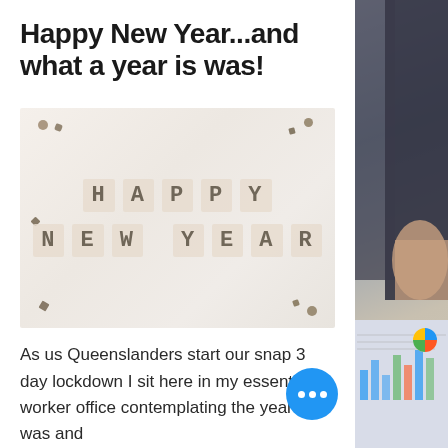Happy New Year...and what a year is was!
[Figure (photo): A blurred photo showing letter tiles spelling out 'HAPPY NEW YEAR' arranged in two rows on a light beige background with decorative elements in the corners.]
As us Queenslanders start our snap 3 day lockdown I sit here in my essential worker office contemplating the year that was and
[Figure (photo): Right side panel showing a partial photo of a person in a dark suit looking at financial charts and documents on a desk.]